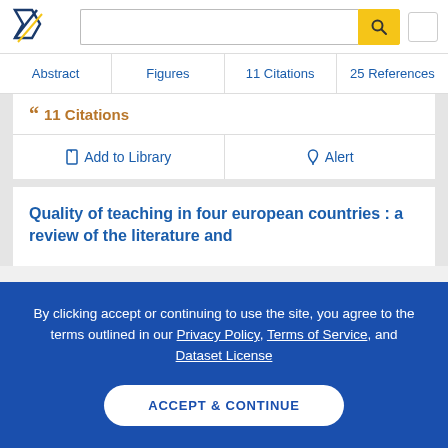Semantic Scholar search interface header with logo and search bar
Abstract | Figures | 11 Citations | 25 References
" 11 Citations
Add to Library | Alert
Quality of teaching in four european countries : a review of the literature and
By clicking accept or continuing to use the site, you agree to the terms outlined in our Privacy Policy, Terms of Service, and Dataset License
ACCEPT & CONTINUE